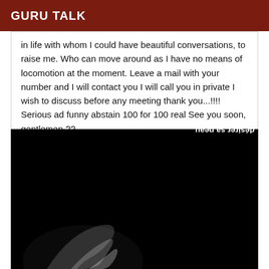GURU TALK
in life with whom I could have beautiful conversations, to raise me. Who can move around as I have no means of locomotion at the moment. Leave a mail with your number and I will contact you I will call you in private I wish to discuss before any meeting thank you...!!!! Serious ad funny abstain 100 for 100 real See you soon, gentlemen ??
[Figure (photo): Dark/black background with a faint glowing curved shape at bottom left (resembling body curves in chiaroscuro lighting). Mirrored French text overlay reading: 'désirer sa peau / ses émotions se cambrent / sensualité' and attribution '(Haruko San)' — all rendered upside-down/mirrored.]